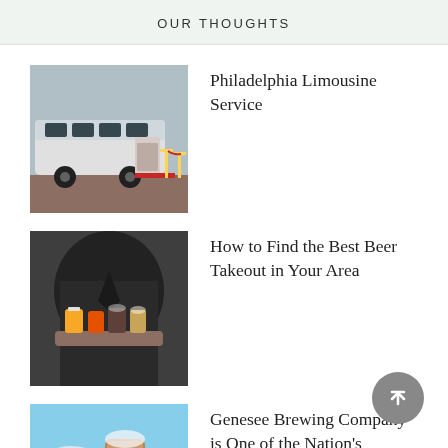OUR THOUGHTS
[Figure (photo): White limousine bus with red carpet and velvet rope stanchions]
Philadelphia Limousine Service
[Figure (photo): Person in dark jacket holding a wooden tray with beer cans and glasses]
How to Find the Best Beer Takeout in Your Area
[Figure (photo): Genesee Brewing Company beer glasses with dark beer and logo]
Genesee Brewing Company is One of the Nation's Largest Brewing Companies